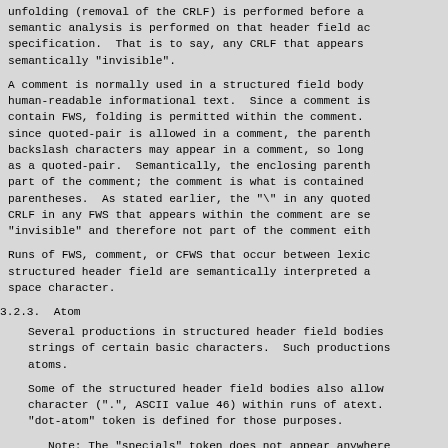unfolding (removal of the CRLF) is performed before a semantic analysis is performed on that header field ac specification.  That is to say, any CRLF that appears semantically "invisible".
A comment is normally used in a structured field body human-readable informational text.  Since a comment is contain FWS, folding is permitted within the comment. since quoted-pair is allowed in a comment, the parenth backslash characters may appear in a comment, so long as a quoted-pair.  Semantically, the enclosing parenth part of the comment; the comment is what is contained parentheses.  As stated earlier, the "\" in any quoted CRLF in any FWS that appears within the comment are se "invisible" and therefore not part of the comment eith
Runs of FWS, comment, or CFWS that occur between lexi structured header field are semantically interpreted a space character.
3.2.3.  Atom
Several productions in structured header field bodies strings of certain basic characters.  Such productions atoms.
Some of the structured header field bodies also allow character (".", ASCII value 46) within runs of atext. "dot-atom" token is defined for those purposes.
Note: The "specials" token does not appear anywhere